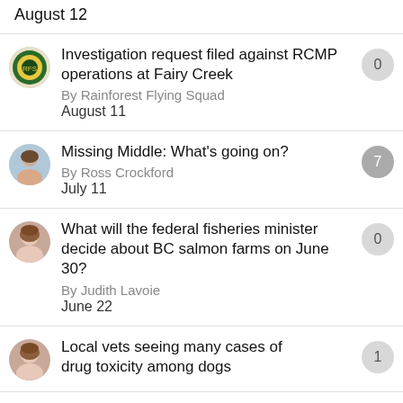August 12
Investigation request filed against RCMP operations at Fairy Creek
By Rainforest Flying Squad
August 11
Comments: 0
Missing Middle: What's going on?
By Ross Crockford
July 11
Comments: 7
What will the federal fisheries minister decide about BC salmon farms on June 30?
By Judith Lavoie
June 22
Comments: 0
Local vets seeing many cases of drug toxicity among dogs
Comments: 1